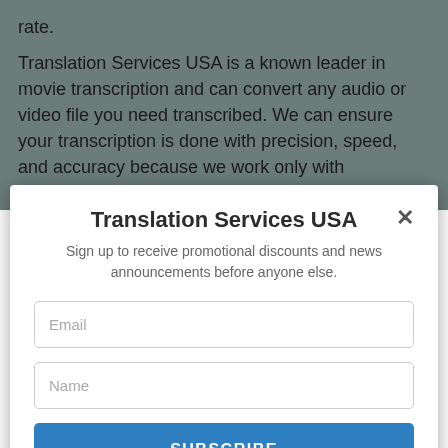rate.
Translation Services USA is a known leader in movie transcription and can convert any audio or video file you need transcribed. We can ensure your transcription is done with precision, speed, and accuracy because we work only with professional transcribers with experience in movie transcription projects.
Translation Services USA
Sign up to receive promotional discounts and news announcements before anyone else.
Email
Name
SUBSCRIBE